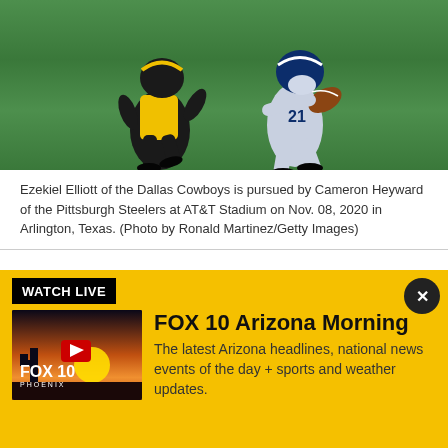[Figure (photo): Ezekiel Elliott of the Dallas Cowboys running with the football while being pursued by Cameron Heyward of the Pittsburgh Steelers at AT&T Stadium]
Ezekiel Elliott of the Dallas Cowboys is pursued by Cameron Heyward of the Pittsburgh Steelers at AT&T Stadium on Nov. 08, 2020 in Arlington, Texas. (Photo by Ronald Martinez/Getty Images)
Maybe some extra game work wouldn't hurt.
"It's not all new verbiage and concepts," coach Mike
[Figure (screenshot): WATCH LIVE banner with FOX 10 Arizona Morning show thumbnail and description. The latest Arizona headlines, national news events of the day + sports and weather updates.]
FOX 10 Arizona Morning
The latest Arizona headlines, national news events of the day + sports and weather updates.